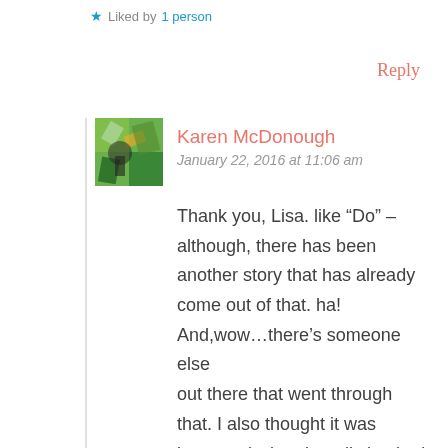★ Liked by 1 person
Reply
Karen McDonough
January 22, 2016 at 11:06 am
Thank you, Lisa. like “Do” – although, there has been another story that has already come out of that. ha! And,wow…there’s someone else out there that went through that. I also thought it was hormonal…but that all checked